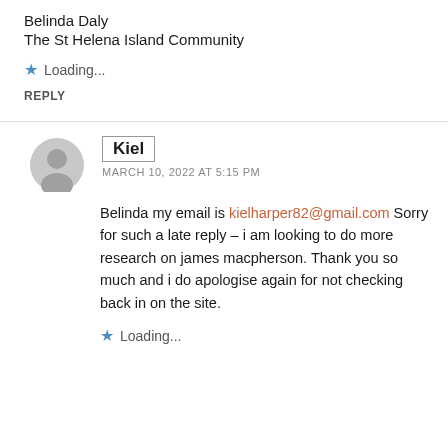Belinda Daly
The St Helena Island Community
★ Loading...
REPLY
Kiel
MARCH 10, 2022 AT 5:15 PM
Belinda my email is kielharper82@gmail.com Sorry for such a late reply – i am looking to do more research on james macpherson. Thank you so much and i do apologise again for not checking back in on the site.
★ Loading...